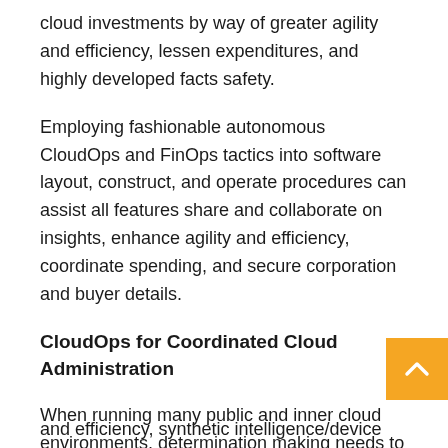cloud investments by way of greater agility and efficiency, lessen expenditures, and highly developed facts safety.
Employing fashionable autonomous CloudOps and FinOps tactics into software layout, construct, and operate procedures can assist all features share and collaborate on insights, enhance agility and efficiency, coordinate spending, and secure corporation and buyer details.
CloudOps for Coordinated Cloud Administration
When running many public and inner cloud environments, determination making needs to balance technologies with business enterprise strategy—whether the goal is to support facts storage and analytics, employee communicati and efficiency, synthetic intelligence/device